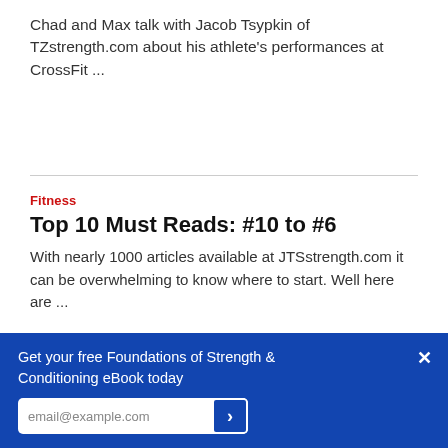Chad and Max talk with Jacob Tsypkin of TZstrength.com about his athlete's performances at CrossFit ...
Fitness
Top 10 Must Reads: #10 to #6
With nearly 1000 articles available at JTSstrength.com it can be overwhelming to know where to start. Well here are ...
Fitness
4 Common Mistakes in Energy System
Get your free Foundations of Strength & Conditioning eBook today
email@example.com